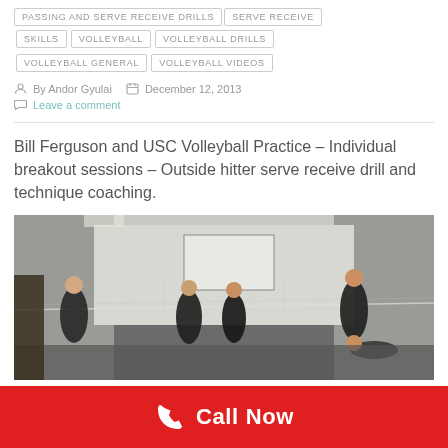PASSING AND SERVE RECEIVE DRILLS
SERVE RECEIVE
SKILLS
VOLLEYBALL
VOLLEYBALL DRILLS
VOLLEYBALL GENERAL
VOLLEYBALL VIDEOS
By Andor Gyulai   December 12, 2013
Leave a comment
Bill Ferguson and USC Volleyball Practice – Individual breakout sessions – Outside hitter serve receive drill and technique coaching.
[Figure (photo): Volleyball practice photo showing players on an indoor court with a net, several athletes in black clothing, one player on the floor, taken indoors with white walls and gym equipment visible.]
Call Now